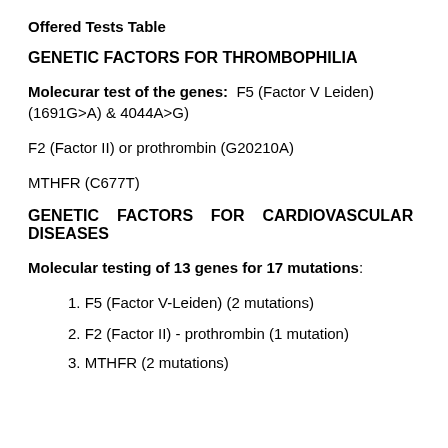Offered Tests Table
GENETIC FACTORS FOR THROMBOPHILIA
Molecurar test of the genes: F5 (Factor V Leiden) (1691G>A) & 4044A>G)
F2 (Factor II) or prothrombin (G20210A)
MTHFR (C677T)
GENETIC FACTORS FOR CARDIOVASCULAR DISEASES
Molecular testing of 13 genes for 17 mutations:
1. F5 (Factor V-Leiden) (2 mutations)
2. F2 (Factor II) - prothrombin (1 mutation)
3. MTHFR (2 mutations)